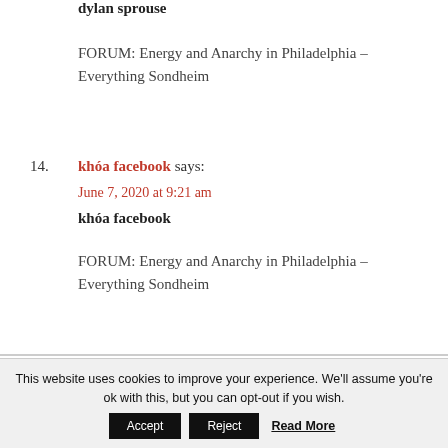dylan sprouse
FORUM: Energy and Anarchy in Philadelphia – Everything Sondheim
14. khóa facebook says: June 7, 2020 at 9:21 am
khóa facebook

FORUM: Energy and Anarchy in Philadelphia – Everything Sondheim
This website uses cookies to improve your experience. We'll assume you're ok with this, but you can opt-out if you wish.